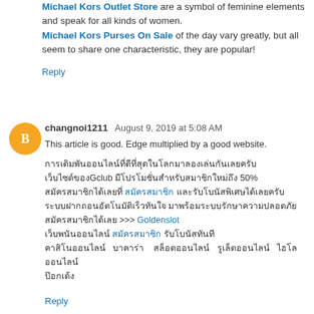Michael Kors Outlet Store are a symbol of feminine elements and speak for all kinds of women.
Michael Kors Purses On Sale of the day vary greatly, but all seem to share one characteristic, they are popular!
Reply
changnoi1211  August 9, 2019 at 5:08 AM
This article is good. Edge multiplied by a good website.
Thai text content with links to Gclub, 50%, Goldenslot, and other Thai gambling/gaming site references.
Reply